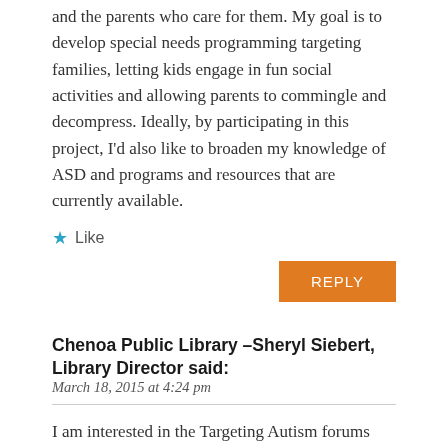and the parents who care for them. My goal is to develop special needs programming targeting families, letting kids engage in fun social activities and allowing parents to commingle and decompress. Ideally, by participating in this project, I'd also like to broaden my knowledge of ASD and programs and resources that are currently available.
★ Like
REPLY
Chenoa Public Library –Sheryl Siebert, Library Director said:
March 18, 2015 at 4:24 pm
I am interested in the Targeting Autism forums because I would like to create a more autistic friendly library. We have more than one autistic user in our library and we are only six blocks from the local grade school. One of our autistic visitors has learned to enjoy petting one of our therapy reading dogs.
In addition, I would like to purchase the best materials regarding autism and share them with my community and other libraries.
My six-year-old granddaughter has Asperger Syndrome, so I